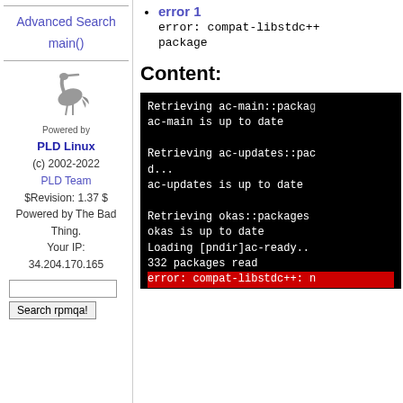error 1
error: compat-libstdc++ package
Content:
[Figure (screenshot): Terminal output showing package retrieval and error messages on black background. Lines include: Retrieving ac-main::packag..., ac-main is up to date, Retrieving ac-updates::pac... d..., ac-updates is up to date, Retrieving okas::packages, okas is up to date, Loading [pndir]ac-ready..., 332 packages read, error: compat-libstdc++: n (highlighted in red), Begin-PLD-Builder-Info, Build-Time: user:6.94s sys, 70s (faults io:0 non-io:90]
Advanced Search
main()
[Figure (logo): Powered by PLD Linux logo with heron bird graphic]
(c) 2002-2022
PLD Team
$Revision: 1.37 $
Powered by The Bad Thing.
Your IP:
34.204.170.165